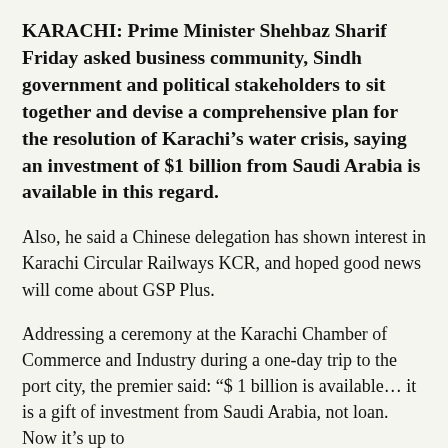KARACHI: Prime Minister Shehbaz Sharif Friday asked business community, Sindh government and political stakeholders to sit together and devise a comprehensive plan for the resolution of Karachi’s water crisis, saying an investment of $1 billion from Saudi Arabia is available in this regard.
Also, he said a Chinese delegation has shown interest in Karachi Circular Railways KCR, and hoped good news will come about GSP Plus.
Addressing a ceremony at the Karachi Chamber of Commerce and Industry during a one-day trip to the port city, the premier said: “$ 1 billion is available… it is a gift of investment from Saudi Arabia, not loan. Now it’s up to